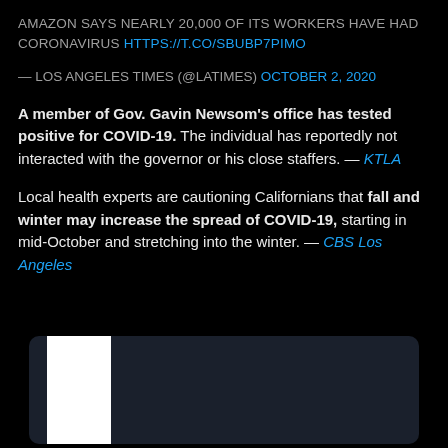AMAZON SAYS NEARLY 20,000 OF ITS WORKERS HAVE HAD CORONAVIRUS HTTPS://T.CO/SBUBP7PIMO
— LOS ANGELES TIMES (@LATIMES) OCTOBER 2, 2020
A member of Gov. Gavin Newsom's office has tested positive for COVID-19. The individual has reportedly not interacted with the governor or his close staffers. — KTLA
Local health experts are cautioning Californians that fall and winter may increase the spread of COVID-19, starting in mid-October and stretching into the winter. — CBS Los Angeles
[Figure (screenshot): Dark navy/charcoal media preview card with white background rectangle on left side, partially visible at bottom of page]